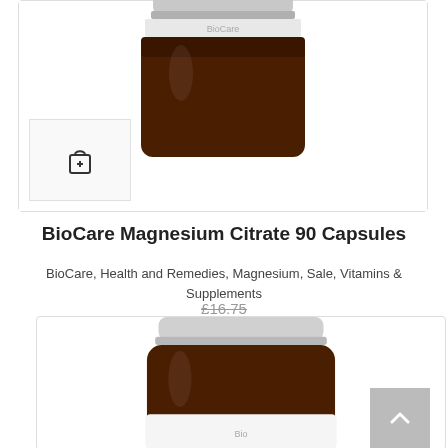[Figure (photo): Top portion of a dark amber glass supplement bottle with a silver lid, shown on white background, partially cropped at top. A shopping cart 'add' icon is visible in the lower left corner of the product card.]
BioCare Magnesium Citrate 90 Capsules
BioCare, Health and Remedies, Magnesium, Sale, Vitamins & Supplements
£16.75
£13.95
[Figure (photo): Dark amber glass supplement bottle with white label partially visible at the bottom, silver lid at the top, partially cropped. A scroll-to-top chevron button is visible in the lower right corner.]